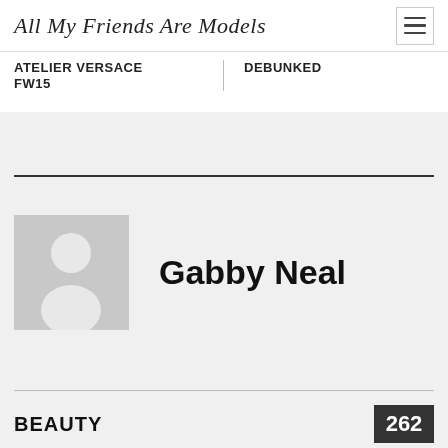All My Friends Are Models
Atelier Versace FW15
Debunked
[Figure (photo): Generic user avatar placeholder with grey background showing a silhouette person icon]
Gabby Neal
BEAUTY
262